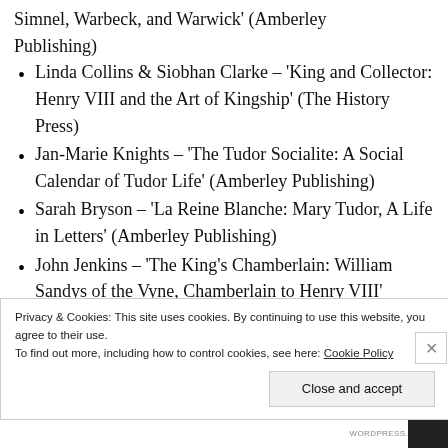Simnel, Warbeck, and Warwick' (Amberley Publishing)
Linda Collins & Siobhan Clarke – 'King and Collector: Henry VIII and the Art of Kingship' (The History Press)
Jan-Marie Knights – 'The Tudor Socialite: A Social Calendar of Tudor Life' (Amberley Publishing)
Sarah Bryson – 'La Reine Blanche: Mary Tudor, A Life in Letters' (Amberley Publishing)
John Jenkins – 'The King's Chamberlain: William Sandys of the Vyne, Chamberlain to Henry VIII' (Amberley Publishing)
Privacy & Cookies: This site uses cookies. By continuing to use this website, you agree to their use.
To find out more, including how to control cookies, see here: Cookie Policy
Close and accept